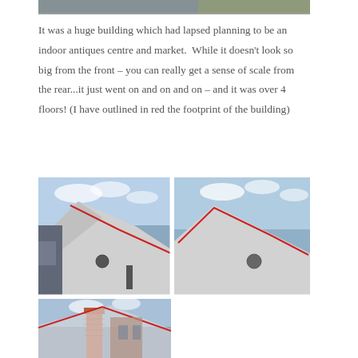[Figure (photo): Partial top image showing a street scene, cropped at the top of the page]
It was a huge building which had lapsed planning to be an indoor antiques centre and market.  While it doesn't look so big from the front – you can really get a sense of scale from the rear...it just went on and on and on – and it was over 4 floors! (I have outlined in red the footprint of the building)
[Figure (photo): Grid of three photos showing the rear of a large white building with peaked rooflines outlined in red, viewed from below against a blue sky with clouds. Bottom-left photo shows a red-brick chimney and roof angle.]